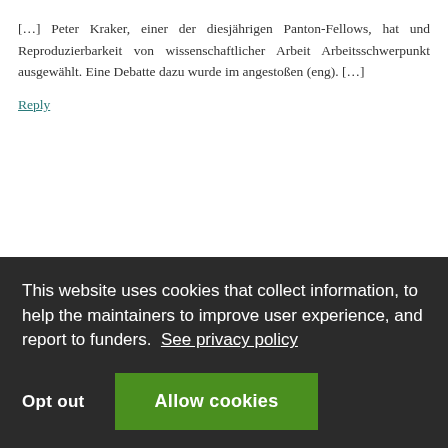[…] Peter Kraker, einer der diesjährigen Panton-Fellows, hat und Reproduzierbarkeit von wissenschaftlicher Arbeit Arbeitsschwerpunkt ausgewählt. Eine Debatte dazu wurde im angestoßen (eng). […]
Reply
11. Josh Nicholson says: November 8, 2013 at 9:09 pm
This website uses cookies that collect information, to help the maintainers to improve user experience, and report to funders.  See privacy policy
Opt out  Allow cookies